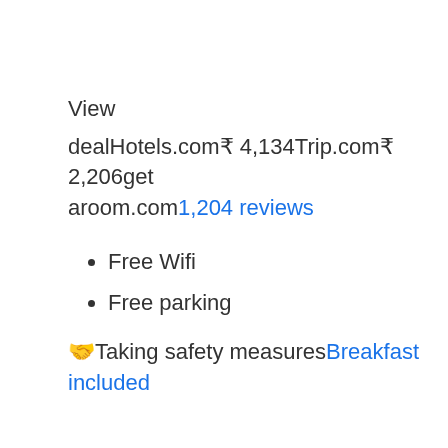View
dealHotels.com₹ 4,134Trip.com₹ 2,206getaroom.com1,204 reviews
Free Wifi
Free parking
🤝Taking safety measuresBreakfast included